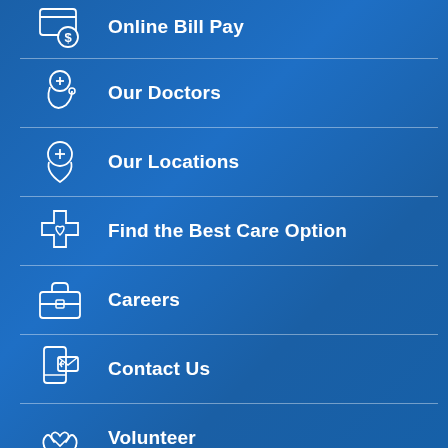Online Bill Pay
Our Doctors
Our Locations
Find the Best Care Option
Careers
Contact Us
Volunteer